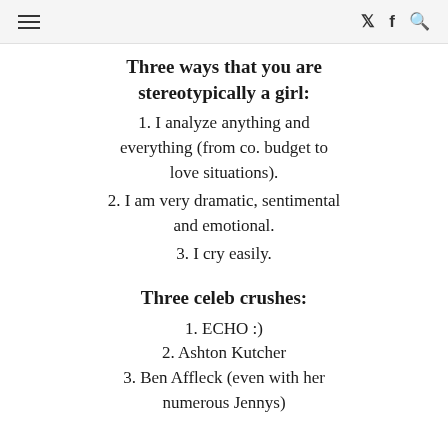≡  𝓽  f  🔍
Three ways that you are stereotypically a girl:
1. I analyze anything and everything (from co. budget to love situations).
2. I am very dramatic, sentimental and emotional.
3. I cry easily.
Three celeb crushes:
1. ECHO :)
2. Ashton Kutcher
3. Ben Affleck (even with her numerous Jennys)